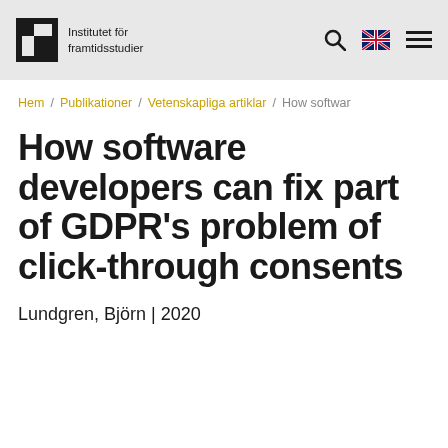Institutet för framtidsstudier
Hem / Publikationer / Vetenskapliga artiklar / How softwar
How software developers can fix part of GDPR's problem of click-through consents
Lundgren, Björn | 2020